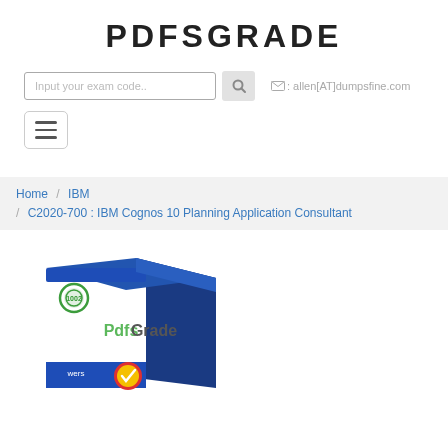PDFSGRADE
[Figure (screenshot): Search bar with placeholder 'Input your exam code..', a search button, and email contact 'allen[AT]dumpsfine.com']
[Figure (other): Hamburger menu toggle button with three horizontal lines]
Home / IBM / C2020-700 : IBM Cognos 10 Planning Application Consultant
[Figure (photo): PdfsGrade product box illustration with logo, 'PdfsGrade' text in green and gray, and a money-back guarantee badge]